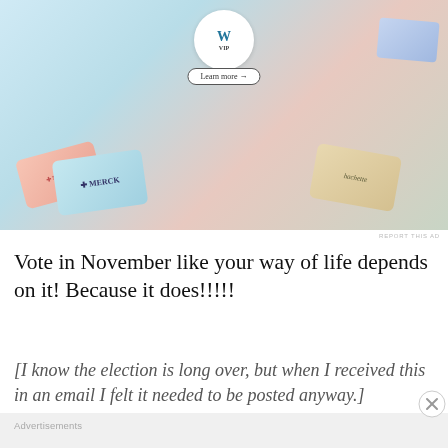[Figure (screenshot): WordPress VIP advertisement banner showing Merck and Hachette brand cards with 'Learn more →' button]
REPORT THIS AD
Vote in November like your way of life depends on it! Because it does!!!!!
[I know the election is long over, but when I received this in an email I felt it needed to be posted anyway.]
Advertisements
[Figure (screenshot): Advertisement banner: WORKS ON THE APP GO! $39.99 a year]
Advertisements